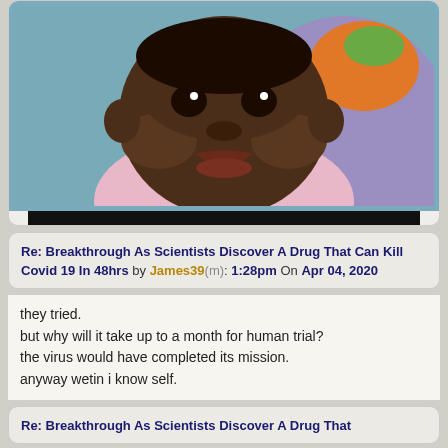[Figure (photo): Close-up photo of a baby with a pouty/scowling expression, wearing a pink outfit, with a blue and purple/orange background.]
Re: Breakthrough As Scientists Discover A Drug That Can Kill Covid 19 In 48hrs by James39(m): 1:28pm On Apr 04, 2020
they tried.
but why will it take up to a month for human trial?
the virus would have completed its mission.
anyway wetin i know self.
Re: Breakthrough As Scientists Discover A Drug That